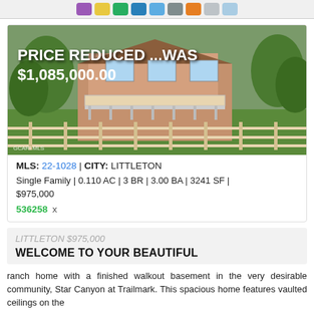[Figure (photo): Aerial/elevated photo of a two-story ranch home with walkout basement, deck, fence, and surrounding trees. Text overlay reads 'PRICE REDUCED ...WAS $1,085,000.00'. Watermark: GCARI MLS.]
MLS: 22-1028 | CITY: LITTLETON
Single Family | 0.110 AC | 3 BR | 3.00 BA | 3241 SF | $975,000
536258 x
LITTLETON $975,000
WELCOME TO YOUR BEAUTIFUL
ranch home with a finished walkout basement in the very desirable community, Star Canyon at Trailmark. This spacious home features vaulted ceilings on the